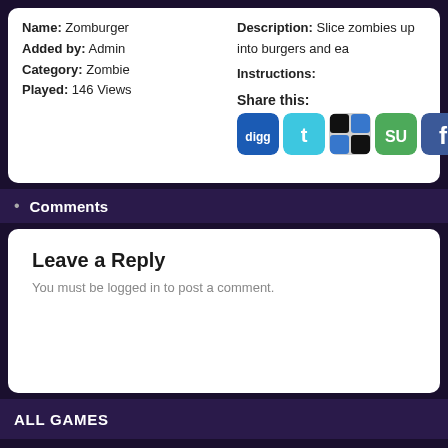Name: Zomburger
Added by: Admin
Category: Zombie
Played: 146 Views
Description: Slice zombies up into burgers and ea
Instructions:
Share this:
[Figure (screenshot): Social sharing icons: Digg, Twitter, Delicious, StumbleUpon, Facebook, Google+]
Comments
Leave a Reply
You must be logged in to post a comment.
ALL GAMES
Menu: • Home • Privacy
Halloween Games - © Copyright 2022 by 365Halloween.com Privacy